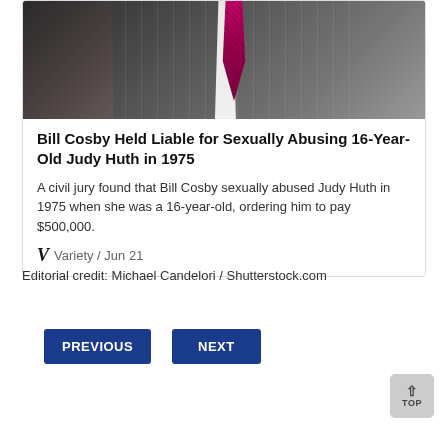[Figure (photo): Photo of two men in suits, one wearing a dark pinstripe suit with a pink/magenta tie, partially visible from chest up.]
Bill Cosby Held Liable for Sexually Abusing 16-Year-Old Judy Huth in 1975
A civil jury found that Bill Cosby sexually abused Judy Huth in 1975 when she was a 16-year-old, ordering him to pay $500,000.
Variety / Jun 21
Editorial credit: Michael Candelori / Shutterstock.com